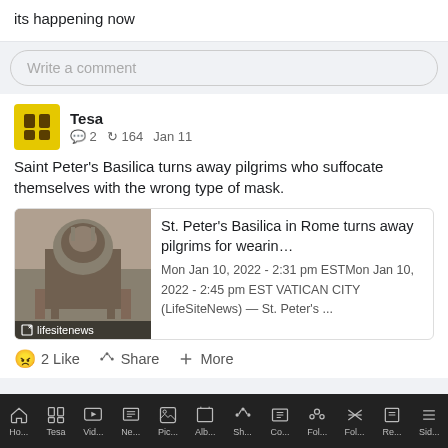its happening now
Write a comment
Tesa  2  164  Jan 11
Saint Peter's Basilica turns away pilgrims who suffocate themselves with the wrong type of mask.
[Figure (screenshot): News article link preview showing St. Peter's Basilica in Rome with lifesitenews.com label]
St. Peter's Basilica in Rome turns away pilgrims for wearin... Mon Jan 10, 2022 - 2:31 pm ESTMon Jan 10, 2022 - 2:45 pm EST VATICAN CITY (LifeSiteNews) — St. Peter's ...
2 Like  Share  More
Ho... Tesa Vid... Ne... Pic... Alb... Sh... Co... Fol... Fol... Re... Sid...